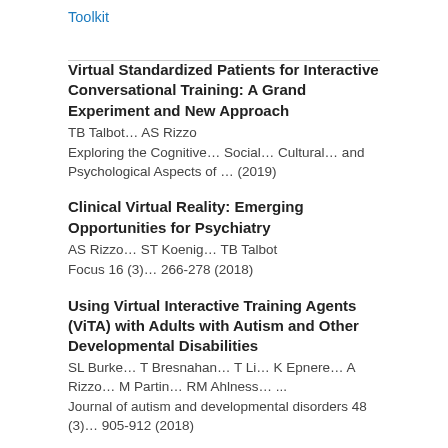Toolkit
Virtual Standardized Patients for Interactive Conversational Training: A Grand Experiment and New Approach
TB Talbot… AS Rizzo
Exploring the Cognitive… Social… Cultural… and Psychological Aspects of … (2019)
Clinical Virtual Reality: Emerging Opportunities for Psychiatry
AS Rizzo… ST Koenig… TB Talbot
Focus 16 (3)… 266-278 (2018)
Using Virtual Interactive Training Agents (ViTA) with Adults with Autism and Other Developmental Disabilities
SL Burke… T Bresnahan… T Li… K Epnere… A Rizzo… M Partin… RM Ahlness… ...
Journal of autism and developmental disorders 48 (3)… 905-912 (2018)
Does Virtual Reality Increase Simulator Sickness During Exposure Therapy for Post-Traumatic Stress Disorder?